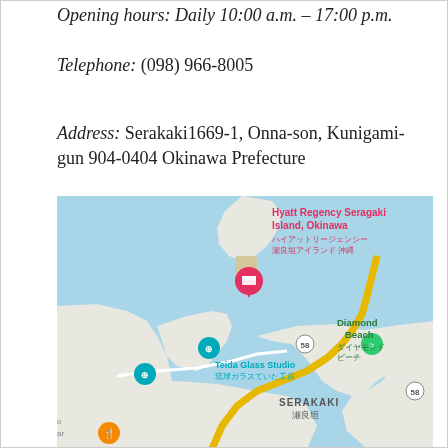Opening hours: Daily 10:00 a.m. – 17:00 p.m.
Telephone: (098) 966-8005
Address: Serakaki1669-1, Onna-son, Kunigami-gun 904-0404 Okinawa Prefecture
[Figure (map): Google Maps screenshot showing Hyatt Regency Seragaki Island Okinawa, with nearby landmarks including Diamond Beach, Teida Glass Studio, and the Serakaki area. Route 58 is visible. Labels include Japanese text for location names.]